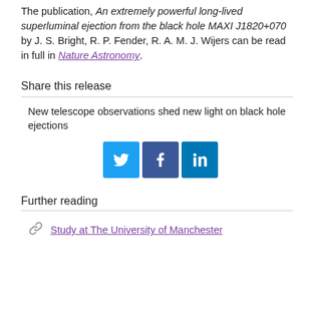The publication, An extremely powerful long-lived superluminal ejection from the black hole MAXI J1820+070 by J. S. Bright, R. P. Fender, R. A. M. J. Wijers can be read in full in Nature Astronomy.
Share this release
New telescope observations shed new light on black hole ejections
[Figure (illustration): Three social media sharing icons: Twitter (blue bird), Facebook (blue f), LinkedIn (blue in)]
Further reading
Study at The University of Manchester